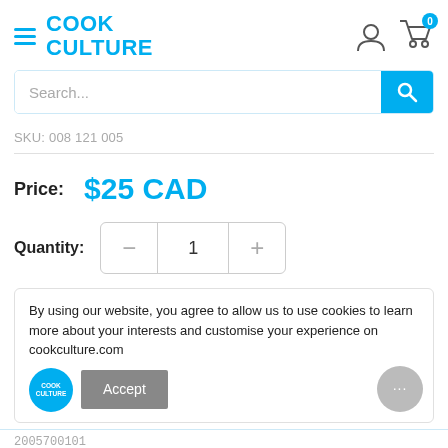[Figure (logo): Cook Culture logo in cyan/blue text, with hamburger menu icon on the left and user/cart icons on the right]
[Figure (screenshot): Search bar with placeholder text 'Search...' and a cyan search button]
SKU: 008 121 005
Price:  $25 CAD
Quantity: 1
By using our website, you agree to allow us to use cookies to learn more about your interests and customise your experience on cookculture.com
Accept
2005700101